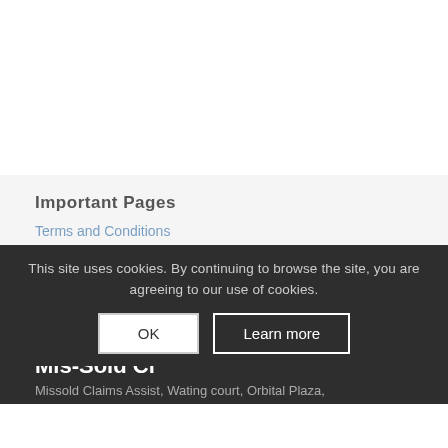Important Pages
Terms and Conditions
Privacy Policy
Cookies
Blog
Contact Us
Mis-Sold Cl...
Missold Claims Assist, Wating court, Orbital Plaza,
This site uses cookies. By continuing to browse the site, you are agreeing to our use of cookies.